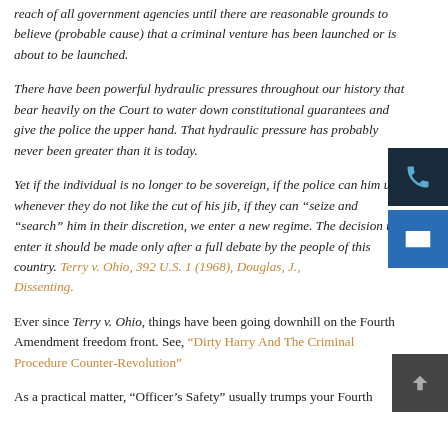reach of all government agencies until there are reasonable grounds to believe (probable cause) that a criminal venture has been launched or is about to be launched.
There have been powerful hydraulic pressures throughout our history that bear heavily on the Court to water down constitutional guarantees and give the police the upper hand. That hydraulic pressure has probably never been greater than it is today.
Yet if the individual is no longer to be sovereign, if the police can him up whenever they do not like the cut of his jib, if they can “seize and “search” him in their discretion, we enter a new regime. The decision to enter it should be made only after a full debate by the people of this country. Terry v. Ohio, 392 U.S. 1 (1968), Douglas, J., Dissenting.
Ever since Terry v. Ohio, things have been going downhill on the Fourth Amendment freedom front. See, “Dirty Harry And The Criminal Procedure Counter-Revolution”
As a practical matter, “Officer’s Safety” usually trumps your Fourth